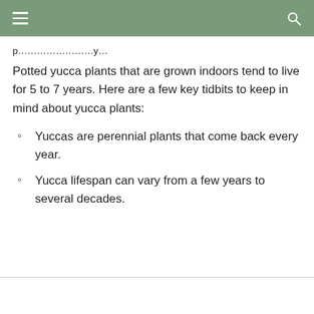≡   🔍
Potted yucca plants that are grown indoors tend to live for 5 to 7 years. Here are a few key tidbits to keep in mind about yucca plants:
Yuccas are perennial plants that come back every year.
Yucca lifespan can vary from a few years to several decades.